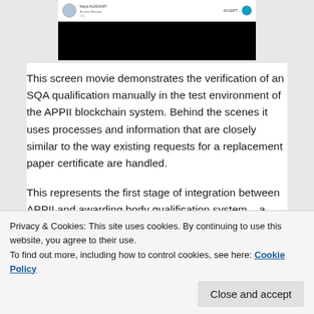[Figure (screenshot): Screenshot of an APPII blockchain system interface showing a user profile on the left and an ACCEPT button with a teal icon on the right, with a black area below.]
This screen movie demonstrates the verification of an SQA qualification manually in the test environment of the APPII blockchain system. Behind the scenes it uses processes and information that are closely similar to the way existing requests for a replacement paper certificate are handled.
This represents the first stage of integration between APPII and awarding body qualification system – a manual operation. There are a range of levels of integration
Privacy & Cookies: This site uses cookies. By continuing to use this website, you agree to their use.
To find out more, including how to control cookies, see here: Cookie Policy
Close and accept